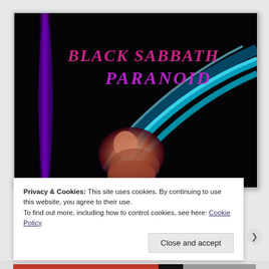[Figure (illustration): Black Sabbath Paranoid album cover. Dark black background with a purple vertical streak on the left side. Bold red/pink text reads 'BLACK SABBATH' on top and 'PARANOID' below in large stylized font. A figure in the center-bottom with flowing cyan/teal streaks curving from upper right.]
Privacy & Cookies: This site uses cookies. By continuing to use this website, you agree to their use.
To find out more, including how to control cookies, see here: Cookie Policy
Close and accept